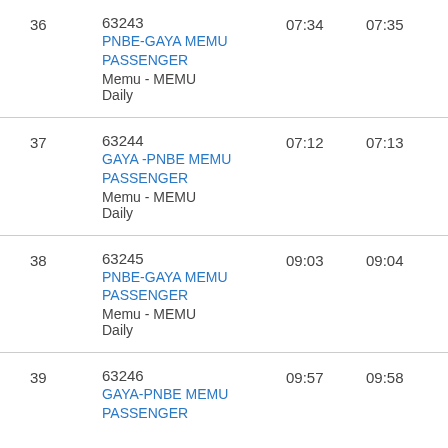| # | Train | Arrival | Departure |
| --- | --- | --- | --- |
| 36 | 63243
PNBE-GAYA MEMU PASSENGER
Memu - MEMU
Daily | 07:34 | 07:35 |
| 37 | 63244
GAYA -PNBE MEMU PASSENGER
Memu - MEMU
Daily | 07:12 | 07:13 |
| 38 | 63245
PNBE-GAYA MEMU PASSENGER
Memu - MEMU
Daily | 09:03 | 09:04 |
| 39 | 63246
GAYA-PNBE MEMU PASSENGER | 09:57 | 09:58 |